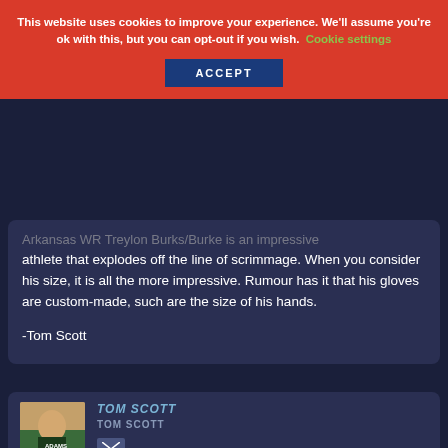This website uses cookies to improve your experience. We'll assume you're ok with this, but you can opt-out if you wish. Cookie settings ACCEPT
Arkansas WR Treylon Burks/Burke is an impressive athlete that explodes off the line of scrimmage. When you consider his size, it is all the more impressive. Rumour has it that his gloves are custom-made, such are the size of his hands.
-Tom Scott
TOM SCOTT
TOM SCOTT